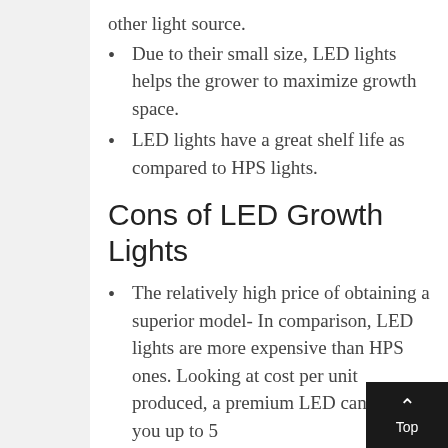other light source.
Due to their small size, LED lights helps the grower to maximize growth space.
LED lights have a great shelf life as compared to HPS lights.
Cons of LED Growth Lights
The relatively high price of obtaining a superior model- In comparison, LED lights are more expensive than HPS ones. Looking at cost per unit produced, a premium LED can cost you up to 5